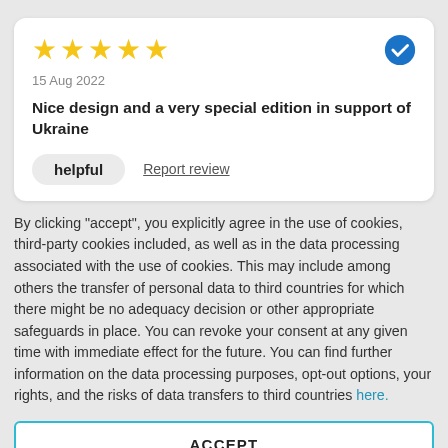[Figure (other): Five yellow stars rating with a blue verified checkmark badge in the top right]
15 Aug 2022
Nice design and a very special edition in support of Ukraine
helpful   Report review
By clicking "accept", you explicitly agree in the use of cookies, third-party cookies included, as well as in the data processing associated with the use of cookies. This may include among others the transfer of personal data to third countries for which there might be no adequacy decision or other appropriate safeguards in place. You can revoke your consent at any given time with immediate effect for the future. You can find further information on the data processing purposes, opt-out options, your rights, and the risks of data transfers to third countries here.
ACCEPT